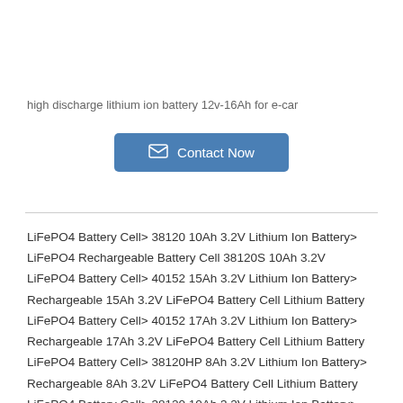high discharge lithium ion battery 12v-16Ah for e-car
[Figure (other): Contact Now button with envelope icon, blue background]
LiFePO4 Battery Cell> 38120 10Ah 3.2V Lithium Ion Battery> LiFePO4 Rechargeable Battery Cell 38120S 10Ah 3.2V
LiFePO4 Battery Cell> 40152 15Ah 3.2V Lithium Ion Battery> Rechargeable 15Ah 3.2V LiFePO4 Battery Cell Lithium Battery
LiFePO4 Battery Cell> 40152 17Ah 3.2V Lithium Ion Battery> Rechargeable 17Ah 3.2V LiFePO4 Battery Cell Lithium Battery
LiFePO4 Battery Cell> 38120HP 8Ah 3.2V Lithium Ion Battery> Rechargeable 8Ah 3.2V LiFePO4 Battery Cell Lithium Battery
LiFePO4 Battery Cell> 38120 10Ah 3.2V Lithium Ion Battery>